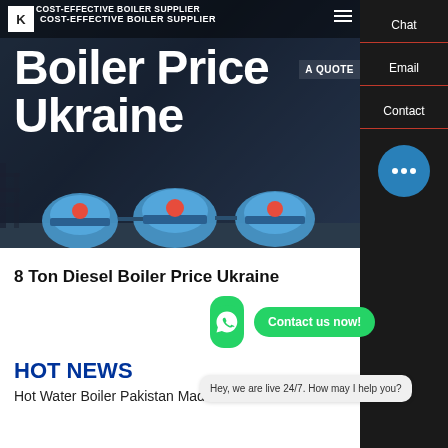[Figure (screenshot): Website hero banner for a cost-effective boiler supplier. Dark industrial background with boiler machinery. Logo and navigation bar at top. Large white bold text reads 'Boiler Price Ukraine'. A 'GET A QUOTE' badge is visible on the right.]
COST-EFFECTIVE BOILER SUPPLIER
Boiler Price Ukraine
8 Ton Diesel Boiler Price Ukraine
Contact us now!
HOT NEWS
Hot Water Boiler Pakistan Made
Hey, we are live 24/7. How may I help you?
Chat
Email
Contact